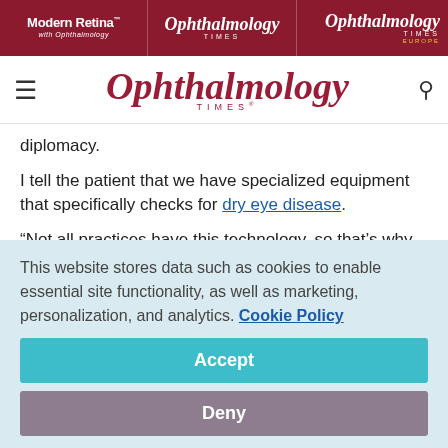Modern Retina | Ophthalmology Times | Ophthalmology Times Europe
Ophthalmology Times
diplomacy.
I tell the patient that we have specialized equipment that specifically checks for dry eye disease.
“Not all practices have this technology, so that’s why Dr. Smith referred you to me,” I will tell them. “We’ll get that tear
This website stores data such as cookies to enable essential site functionality, as well as marketing, personalization, and analytics. Cookie Policy
Accept
Deny